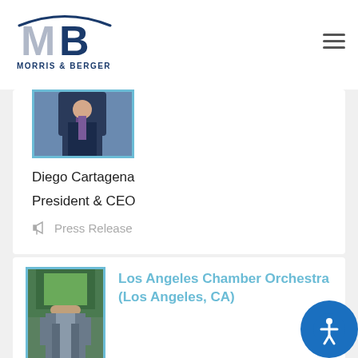[Figure (logo): Morris & Berger logo with MB monogram and company name]
[Figure (photo): Photo of Diego Cartagena, partially visible, showing suit and purple tie]
Diego Cartagena
President & CEO
Press Release
Los Angeles Chamber Orchestra (Los Angeles, CA)
[Figure (photo): Photo of a man in a grey suit standing on a deck outdoors with green trees behind him]